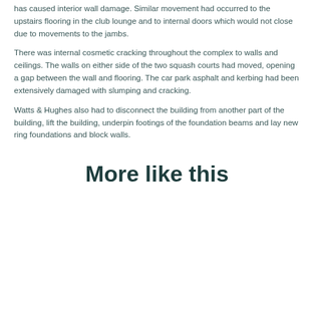has caused interior wall damage. Similar movement had occurred to the upstairs flooring in the club lounge and to internal doors which would not close due to movements to the jambs.
There was internal cosmetic cracking throughout the complex to walls and ceilings. The walls on either side of the two squash courts had moved, opening a gap between the wall and flooring. The car park asphalt and kerbing had been extensively damaged with slumping and cracking.
Watts & Hughes also had to disconnect the building from another part of the building, lift the building, underpin footings of the foundation beams and lay new ring foundations and block walls.
More like this